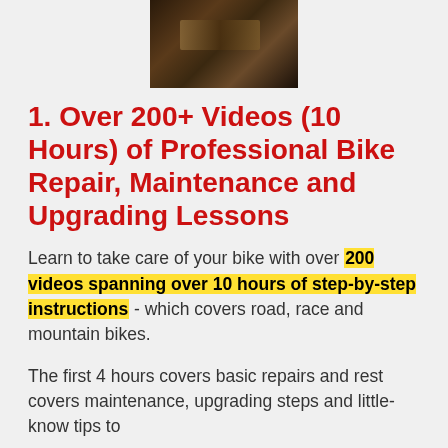[Figure (photo): Close-up photo of bicycle gears and chain mechanism, dark tones]
1. Over 200+ Videos (10 Hours) of Professional Bike Repair, Maintenance and Upgrading Lessons
Learn to take care of your bike with over 200 videos spanning over 10 hours of step-by-step instructions - which covers road, race and mountain bikes.
The first 4 hours covers basic repairs and rest covers maintenance, upgrading steps and little-know tips to